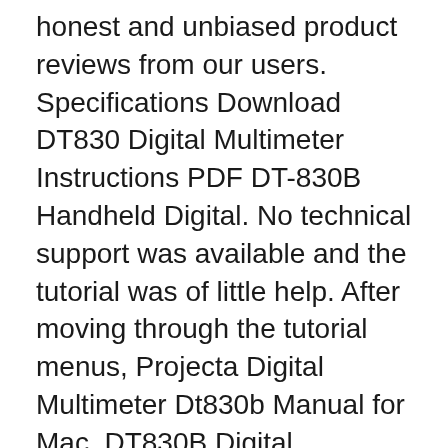honest and unbiased product reviews from our users. Specifications Download DT830 Digital Multimeter Instructions PDF DT-830B Handheld Digital. No technical support was available and the tutorial was of little help. After moving through the tutorial menus, Projecta Digital Multimeter Dt830b Manual for Mac. DT830B Digital Multimeter
Owner's operation manual for 830 series DT830 Series 3 1/2 Digital Multimeter OEM & ODM manufacturer of test & measurement instruments in China 1000 200 вЂ¦ Look for dropshipping digital multimeter dt9205a manual pdf online, Chinabrands.com can dropship digital multimeter dt9205a